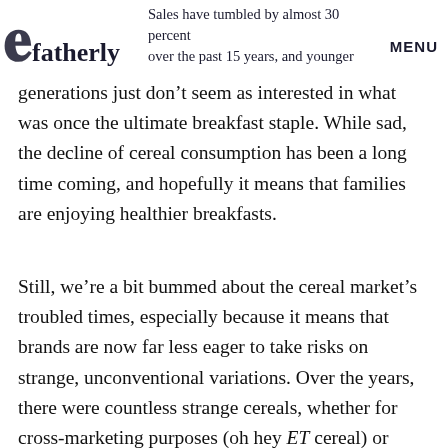Fatherly  MENU  Sales have tumbled by almost 30 percent over the past 15 years, and younger
generations just don’t seem as interested in what was once the ultimate breakfast staple. While sad, the decline of cereal consumption has been a long time coming, and hopefully it means that families are enjoying healthier breakfasts.
Still, we’re a bit bummed about the cereal market’s troubled times, especially because it means that brands are now far less eager to take risks on strange, unconventional variations. Over the years, there were countless strange cereals, whether for cross-marketing purposes (oh hey ET cereal) or simply to shake things up a bit (what’s up, Pop-Tarts